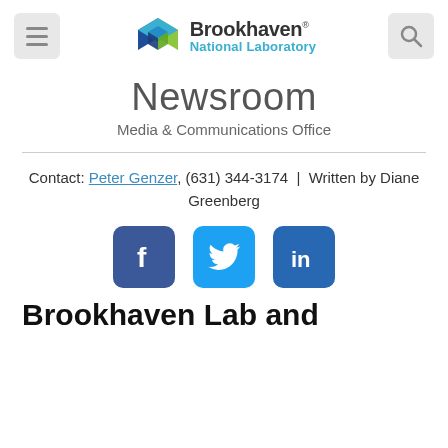[Figure (logo): Brookhaven National Laboratory logo with hexagonal cube icon and text]
Newsroom
Media & Communications Office
Contact: Peter Genzer, (631) 344-3174  |  Written by Diane Greenberg
[Figure (infographic): Social media icons: Facebook, Twitter, LinkedIn]
Brookhaven Lab and